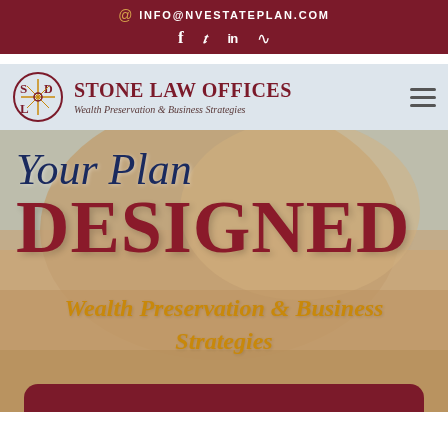@ INFO@NVESTATEPLAN.COM  f  t  in  rss
[Figure (logo): Stone Law Offices logo with SDLo emblem and cross/compass design. Firm name: STONE LAW OFFICES. Tagline: Wealth Preservation & Business Strategies. Hamburger menu icon on right.]
[Figure (photo): Hero banner with red rock desert landscape background. Overlaid text: 'Your Plan' in dark blue italic script, 'DESIGNED' in large dark red bold uppercase, and 'Wealth Preservation & Business Strategies' in golden italic bold text. Dark red rounded button bar at bottom.]